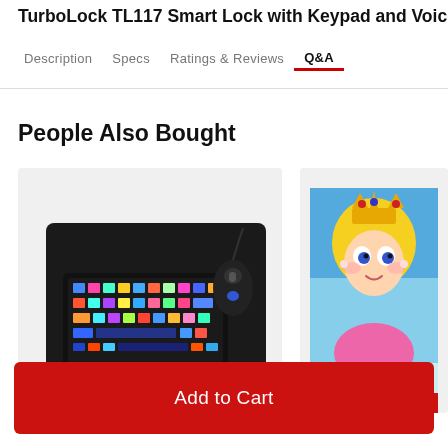TurboLock TL117 Smart Lock with Keypad and Voice
Description  Specs  Ratings & Reviews  Q&A
People Also Bought
[Figure (photo): RGB mechanical keyboard with mouse on a black mouse pad]
[Figure (photo): Nintendo eShop gift card featuring Princess Peach]
Add to Cart